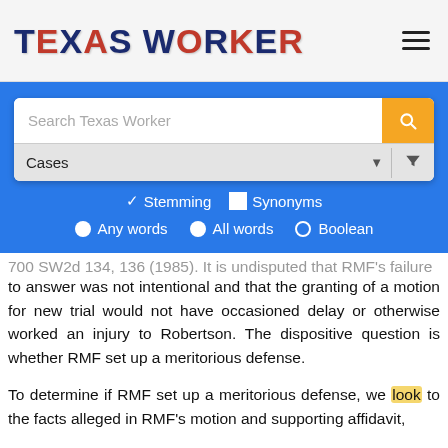[Figure (screenshot): Texas Worker website logo with navigation hamburger menu icon]
[Figure (screenshot): Search interface with blue background, search bar with orange search button, Cases dropdown filter, Stemming/Synonyms options, and Any words/All words/Boolean radio buttons]
to answer was not intentional and that the granting of a motion for new trial would not have occasioned delay or otherwise worked an injury to Robertson. The dispositive question is whether RMF set up a meritorious defense.
To determine if RMF set up a meritorious defense, we look to the facts alleged in RMF's motion and supporting affidavit,